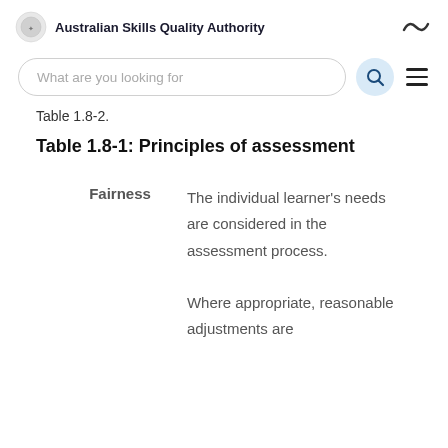Australian Skills Quality Authority
Table 1.8-2.
Table 1.8-1: Principles of assessment
|  |  |
| --- | --- |
| Fairness | The individual learner's needs are considered in the assessment process.

Where appropriate, reasonable adjustments are |